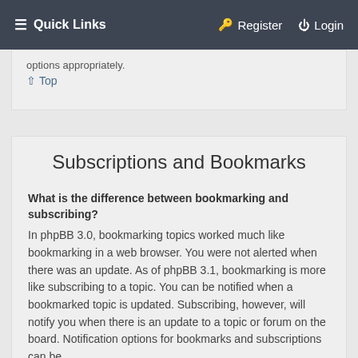≡ Quick Links   🔑 Register   ⏻ Login
options appropriately.
↑ Top
Subscriptions and Bookmarks
What is the difference between bookmarking and subscribing?
In phpBB 3.0, bookmarking topics worked much like bookmarking in a web browser. You were not alerted when there was an update. As of phpBB 3.1, bookmarking is more like subscribing to a topic. You can be notified when a bookmarked topic is updated. Subscribing, however, will notify you when there is an update to a topic or forum on the board. Notification options for bookmarks and subscriptions can be